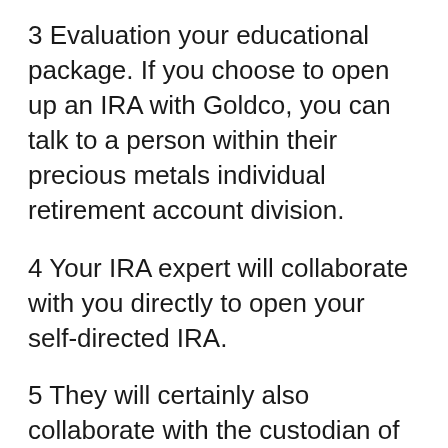3 Evaluation your educational package. If you choose to open up an IRA with Goldco, you can talk to a person within their precious metals individual retirement account division.
4 Your IRA expert will collaborate with you directly to open your self-directed IRA.
5 They will certainly also collaborate with the custodian of your existing pension to determine what is required to ensure safe and efficient transfer or funds to your new self-directed IRA.
6 You can then work with Goldco’s team in choosing the precious metals to be bought for your account.